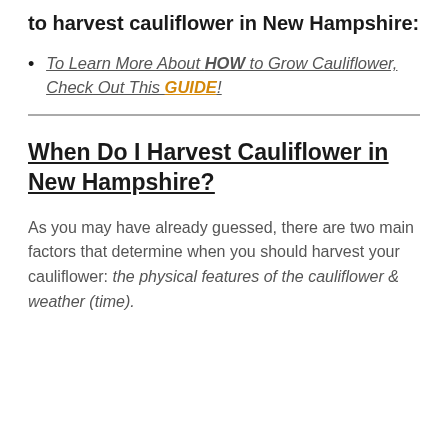to harvest cauliflower in New Hampshire:
To Learn More About HOW to Grow Cauliflower, Check Out This GUIDE!
When Do I Harvest Cauliflower in New Hampshire?
As you may have already guessed, there are two main factors that determine when you should harvest your cauliflower: the physical features of the cauliflower & weather (time).